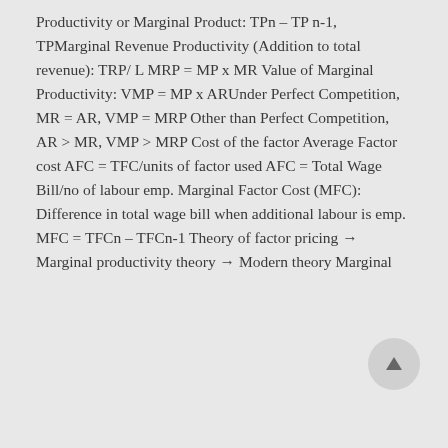Productivity or Marginal Product: TPn – TP n-1, TPMarginal Revenue Productivity (Addition to total revenue): TRP/ L MRP = MP x MR Value of Marginal Productivity: VMP = MP x ARUnder Perfect Competition, MR = AR, VMP = MRP Other than Perfect Competition, AR > MR, VMP > MRP Cost of the factor Average Factor cost AFC = TFC/units of factor used AFC = Total Wage Bill/no of labour emp. Marginal Factor Cost (MFC): Difference in total wage bill when additional labour is emp. MFC = TFCn – TFCn-1 Theory of factor pricing → Marginal productivity theory → Modern theory Marginal